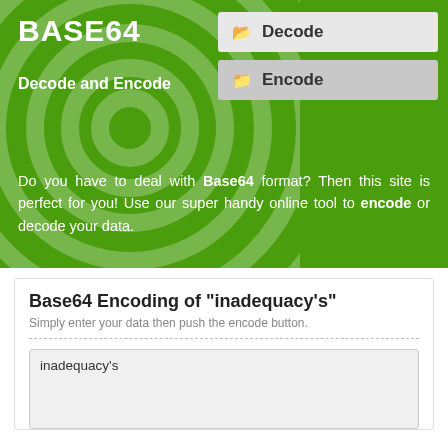BASE64
Decode and Encode
[Figure (screenshot): Decode navigation button with folder icon]
[Figure (screenshot): Encode navigation button with folder icon]
Do you have to deal with Base64 format? Then this site is perfect for you! Use our super handy online tool to encode or decode your data.
Base64 Encoding of "inadequacy's"
Simply enter your data then push the encode button.
inadequacy's